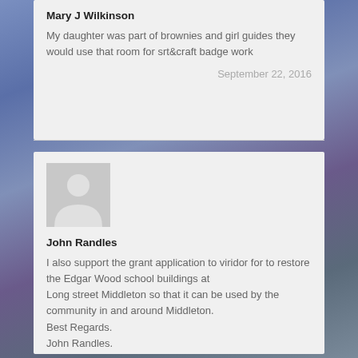Mary J Wilkinson
My daughter was part of brownies and girl guides they would use that room for srt&craft badge work
September 22, 2016
[Figure (illustration): Generic user avatar placeholder image - grey square with white silhouette of a person]
John Randles
I also support the grant application to viridor for to restore the Edgar Wood school buildings at
Long street Middleton so that it can be used by the community in and around Middleton.
Best Regards.
John Randles.
September 22, 2016